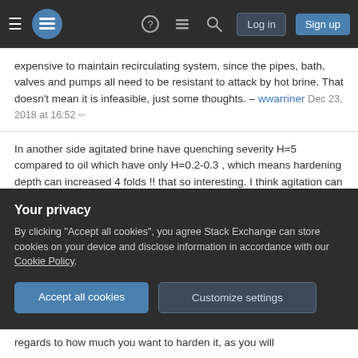Stack Exchange navigation bar with Log in and Sign up buttons
expensive to maintain recirculating system, since the pipes, bath, valves and pumps all need to be resistant to attack by hot brine. That doesn't mean it is infeasible, just some thoughts. – wwarriner Dec 23, 2018 at 16:52 ✏
In another side agitated brine have quenching severity H=5 compared to oil which have only H=0.2-0.3 , which means hardening depth can increased 4 folds !! that so interesting. I think agitation can be provided by propeller-type agitators, so the corrosion issues will be minimized. – anameen Dec 23, 2018 at 22:39 ✏
I have a feeling/vauge memory that boiling (without
Your privacy
By clicking "Accept all cookies", you agree Stack Exchange can store cookies on your device and disclose information in accordance with our Cookie Policy.
Accept all cookies  |  Customize settings
regards to how much you want to harden it, as you will